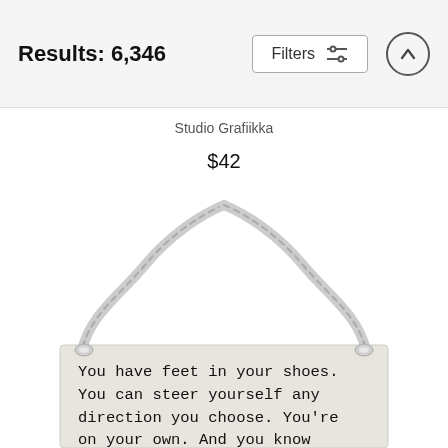Results: 6,346
Studio Grafiikka
$42
[Figure (photo): A fabric tote bag hung by a twisted rope/cord handle, with typewriter-font text reading: 'You have feet in your shoes. You can steer yourself any direction you choose. You're on your own. And you know']